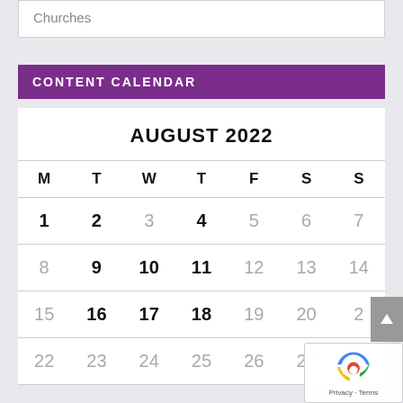Churches
CONTENT CALENDAR
| M | T | W | T | F | S | S |
| --- | --- | --- | --- | --- | --- | --- |
| 1 | 2 | 3 | 4 | 5 | 6 | 7 |
| 8 | 9 | 10 | 11 | 12 | 13 | 14 |
| 15 | 16 | 17 | 18 | 19 | 20 | 21 |
| 22 | 23 | 24 | 25 | 26 | 27 | 28 |